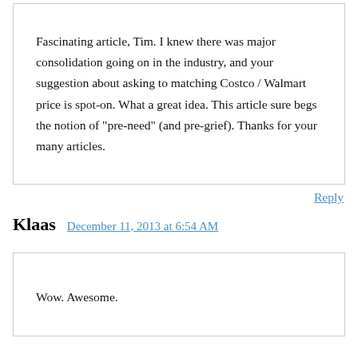Fascinating article, Tim. I knew there was major consolidation going on in the industry, and your suggestion about asking to matching Costco / Walmart price is spot-on. What a great idea. This article sure begs the notion of "pre-need" (and pre-grief). Thanks for your many articles.
Reply
Klaas
December 11, 2013 at 6:54 AM
Wow. Awesome.